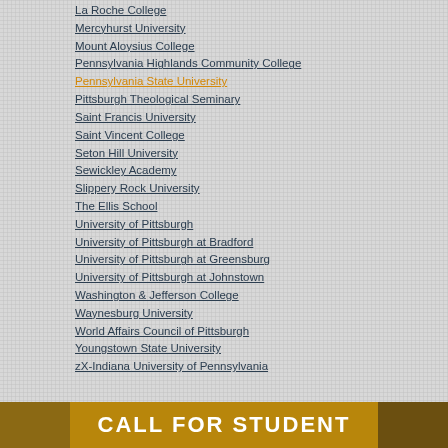La Roche College
Mercyhurst University
Mount Aloysius College
Pennsylvania Highlands Community College
Pennsylvania State University
Pittsburgh Theological Seminary
Saint Francis University
Saint Vincent College
Seton Hill University
Sewickley Academy
Slippery Rock University
The Ellis School
University of Pittsburgh
University of Pittsburgh at Bradford
University of Pittsburgh at Greensburg
University of Pittsburgh at Johnstown
Washington & Jefferson College
Waynesburg University
World Affairs Council of Pittsburgh
Youngstown State University
zX-Indiana University of Pennsylvania
[Figure (photo): Bottom banner with 'CALL FOR STUDENT' text and flanking images]